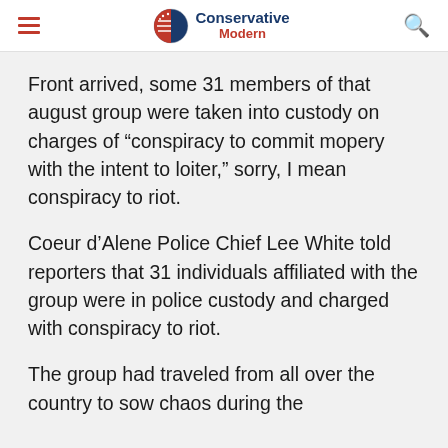Conservative Modern
Front arrived, some 31 members of that august group were taken into custody on charges of “conspiracy to commit mopery with the intent to loiter,” sorry, I mean conspiracy to riot.
Coeur d’Alene Police Chief Lee White told reporters that 31 individuals affiliated with the group were in police custody and charged with conspiracy to riot.
The group had traveled from all over the country to sow chaos during the